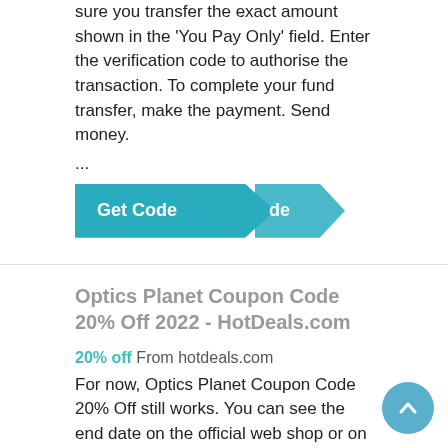sure you transfer the exact amount shown in the 'You Pay Only' field. Enter the verification code to authorise the transaction. To complete your fund transfer, make the payment. Send money.
...
[Figure (other): A teal 'Get Code' button with arrow/chevron shape pointing right, with overlapping 'de' text visible]
Optics Planet Coupon Code 20% Off 2022 - HotDeals.com
20% off From hotdeals.com
For now, Optics Planet Coupon Code 20% Off still works. You can see the end date on the official web shop or on HotDeals.com. Don't forget to use the discount before it expires. The best discount is 20% OFF. So Optics Planet Coupon Code 20% Off is really a nice offer. Users can easily save $15-17 with the available